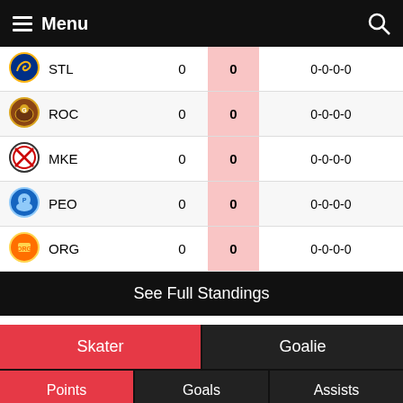Menu
|  | Team | GP | PTS | Record |
| --- | --- | --- | --- | --- |
| STL logo | STL | 0 | 0 | 0-0-0-0 |
| ROC logo | ROC | 0 | 0 | 0-0-0-0 |
| MKE logo | MKE | 0 | 0 | 0-0-0-0 |
| PEO logo | PEO | 0 | 0 | 0-0-0-0 |
| ORG logo | ORG | 0 | 0 | 0-0-0-0 |
See Full Standings
Skater
Goalie
Points
Goals
Assists
| Name | Team | GP | G | A | PTS |
| --- | --- | --- | --- | --- | --- |
See All Leaders